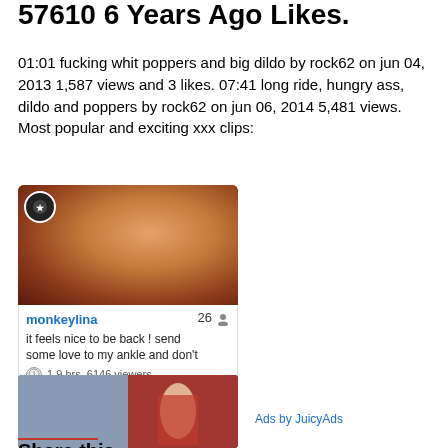57610 6 Years Ago Likes.
01:01 fucking whit poppers and big dildo by rock62 on jun 04, 2013 1,587 views and 3 likes. 07:41 long ride, hungry ass, dildo and poppers by rock62 on jun 06, 2014 5,481 views. Most popular and exciting xxx clips:
[Figure (photo): Thumbnail image of adult content with username monkeylina, count 26, message: it feels nice to be back ! send some love to my ankle and don't, viewers: 1.9 hrs, 6146 viewers]
[Figure (photo): Second thumbnail image showing adult content]
Ads by JuicyAds
Share this